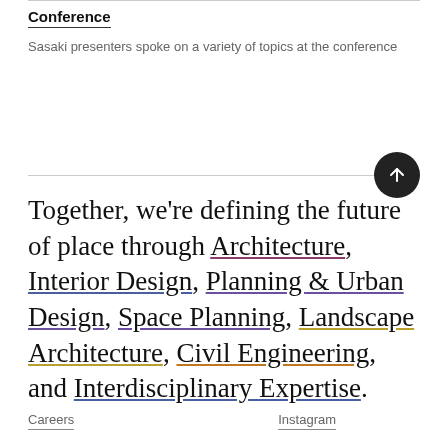Conference
Sasaki presenters spoke on a variety of topics at the conference
Together, we're defining the future of place through Architecture, Interior Design, Planning & Urban Design, Space Planning, Landscape Architecture, Civil Engineering, and Interdisciplinary Expertise.
Careers   Instagram